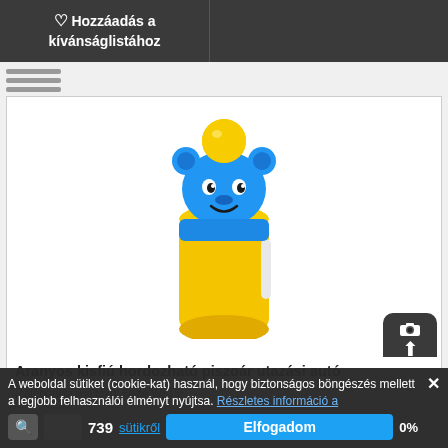♡ Hozzáadás a kívánságlistához
[Figure (photo): Yellow and blue cartoon character portable urinal/travel potty product for children, shaped like a smiling blue bear/animal head on top of a yellow cylindrical container with a white strap]
Aranyos kisfiú hordozható piszoár utazási autó
(category/brand text), Bette W815
A weboldal sütiket (cookie-kat) használ, hogy biztonságos böngészés mellett a legjobb felhasználói élményt nyújtsa. Részletes információ a sütikről
Elfogadom